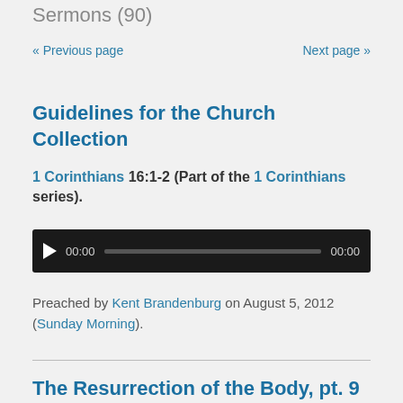Sermons (90)
« Previous page    Next page »
Guidelines for the Church Collection
1 Corinthians 16:1-2 (Part of the 1 Corinthians series).
[Figure (other): Audio player bar showing play button, 00:00 start time, progress bar, and 00:00 end time on a black background]
Preached by Kent Brandenburg on August 5, 2012 (Sunday Morning).
The Resurrection of the Body, pt. 9